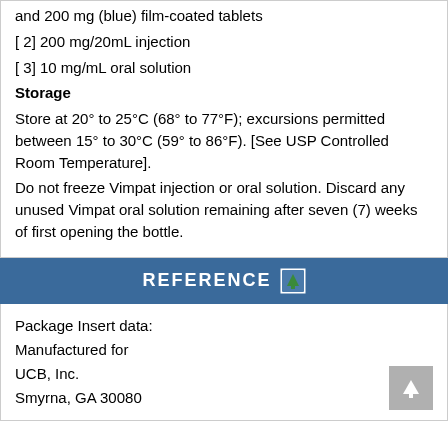[ 2]  200 mg/20mL injection
[ 3]  10 mg/mL oral solution
Storage
Store at 20° to 25°C (68° to 77°F); excursions permitted between 15° to 30°C (59° to 86°F). [See USP Controlled Room Temperature].
Do not freeze Vimpat injection or oral solution. Discard any unused Vimpat oral solution remaining after seven (7) weeks of first opening the bottle.
REFERENCE
Package Insert data:
Manufactured for
UCB, Inc.
Smyrna, GA 30080